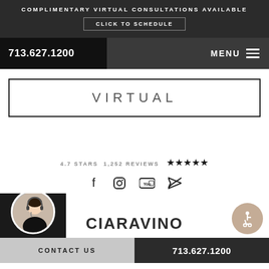COMPLIMENTARY VIRTUAL CONSULTATIONS AVAILABLE
CLICK TO SCHEDULE
713.627.1200
MENU
VIRTUAL
4.7 STARS 1,252 REVIEWS ★★★★★
[Figure (illustration): Social media icons: Facebook, Instagram, YouTube, Twitter]
[Figure (photo): Customer service representative with headset, circular portrait photo]
CIARAVINO
[Figure (illustration): Wheelchair accessibility icon in circular tan button]
CONTACT US | 713.627.1200